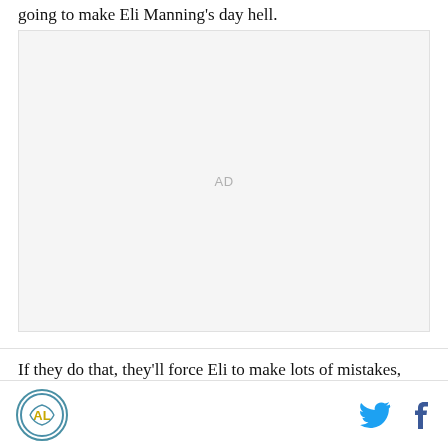going to make Eli Manning's day hell.
[Figure (other): Advertisement placeholder block with 'AD' label in center]
If they do that, they'll force Eli to make lots of mistakes,
Logo icon, Twitter icon, Facebook icon